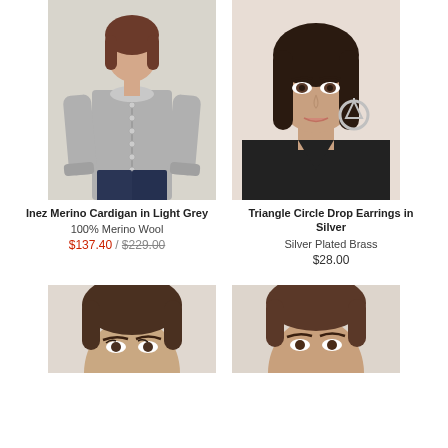[Figure (photo): Woman wearing a grey merino cardigan with peter pan collar and buttons, paired with dark jeans. Product photo on light background.]
[Figure (photo): Close-up of a woman's face wearing triangle circle drop earrings in silver, black top, dark hair.]
Inez Merino Cardigan in Light Grey
Triangle Circle Drop Earrings in Silver
100% Merino Wool
Silver Plated Brass
$137.40 / $229.00
$28.00
[Figure (photo): Close-up of a woman's face, partial view, light background.]
[Figure (photo): Close-up of a woman's face, partial view, light background.]